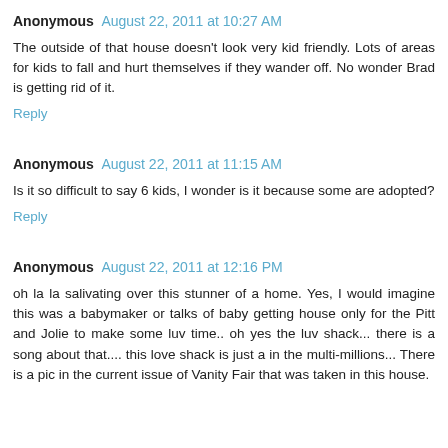Anonymous August 22, 2011 at 10:27 AM
The outside of that house doesn't look very kid friendly. Lots of areas for kids to fall and hurt themselves if they wander off. No wonder Brad is getting rid of it.
Reply
Anonymous August 22, 2011 at 11:15 AM
Is it so difficult to say 6 kids, I wonder is it because some are adopted?
Reply
Anonymous August 22, 2011 at 12:16 PM
oh la la salivating over this stunner of a home. Yes, I would imagine this was a babymaker or talks of baby getting house only for the Pitt and Jolie to make some luv time.. oh yes the luv shack... there is a song about that.... this love shack is just a in the multi-millions... There is a pic in the current issue of Vanity Fair that was taken in this house.